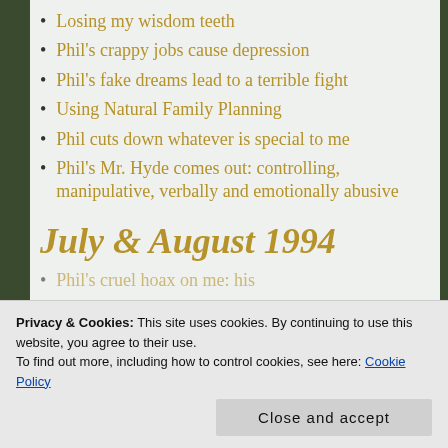Losing my wisdom teeth
Phil's crappy jobs cause depression
Phil's fake dreams lead to a terrible fight
Using Natural Family Planning
Phil cuts down whatever is special to me
Phil's Mr. Hyde comes out: controlling, manipulative, verbally and emotionally abusive
July & August 1994
Phil's cruel hoax on me: his
Privacy & Cookies: This site uses cookies. By continuing to use this website, you agree to their use.
To find out more, including how to control cookies, see here: Cookie Policy